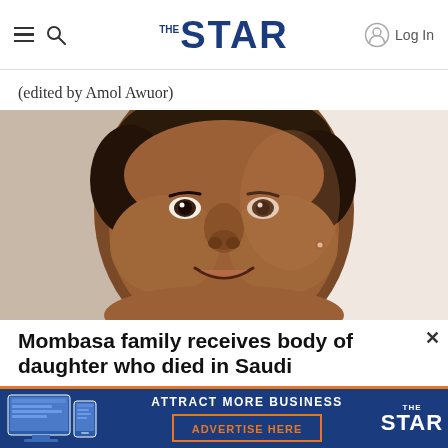THE STAR — Log In
(edited by Amol Awuor)
[Figure (photo): Close-up portrait of a young woman smiling, with short hair, photographed against a light background.]
Mombasa family receives body of daughter who died in Saudi
[Figure (infographic): Advertisement banner: ATTRACT MORE BUSINESS — ADVERTISE HERE — The Star logo]